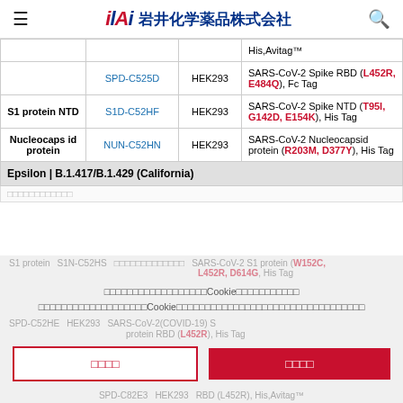岩井化学薬品株式会社
| Protein | Cat# | Host | Description |
| --- | --- | --- | --- |
|  |  |  | His,Avitag™ |
|  | SPD-C525D | HEK293 | SARS-CoV-2 Spike RBD (L452R, E484Q), Fc Tag |
| S1 protein NTD | S1D-C52HF | HEK293 | SARS-CoV-2 Spike NTD (T95I, G142D, E154K), His Tag |
| Nucleocapsid protein | NUN-C52HN | HEK293 | SARS-CoV-2 Nucleocapsid protein (R203M, D377Y), His Tag |
Epsilon | B.1.417/B.1.429 (California)
S1 protein S1N-C52HS HEK293 SARS-CoV-2 S1 protein (W152C, L452R, D614G), His Tag
SPD-C52HE HEK293 SARS-CoV-2 (COVID-19) S protein RBD (L452R), His Tag
S protein RBD SPD-C82E3 HEK293 RBD (L452R), His,Avitag™